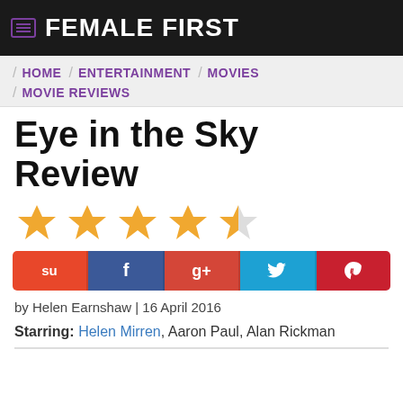FEMALE FIRST
HOME / ENTERTAINMENT / MOVIES / MOVIE REVIEWS
Eye in the Sky Review
[Figure (other): 4.5 out of 5 stars rating — four full gold stars and one half gold star]
[Figure (other): Social sharing buttons: StumbleUpon, Facebook, Google+, Twitter, Pinterest]
by Helen Earnshaw | 16 April 2016
Starring: Helen Mirren, Aaron Paul, Alan Rickman